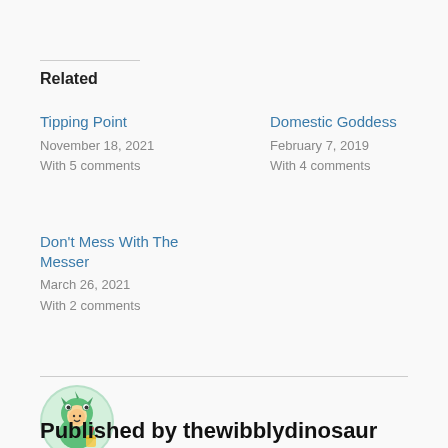Related
Tipping Point
November 18, 2021
With 5 comments
Domestic Goddess
February 7, 2019
With 4 comments
Don't Mess With The Messer
March 26, 2021
With 2 comments
[Figure (illustration): Cartoon illustration of a person dressed in a green dinosaur costume, avatar for thewibblydinosaur]
Published by thewibblydinosaur